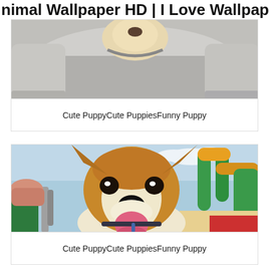nimal Wallpaper HD | I Love Wallpap
[Figure (photo): A small puppy being held, wearing a grey outfit, close-up photo showing puppy's face and person's arms]
Cute PuppyCute PuppiesFunny Puppy
[Figure (photo): A Corgi puppy with tongue out at a colorful playground/park area, close-up face shot with green and orange tubes in background]
Cute PuppyCute PuppiesFunny Puppy